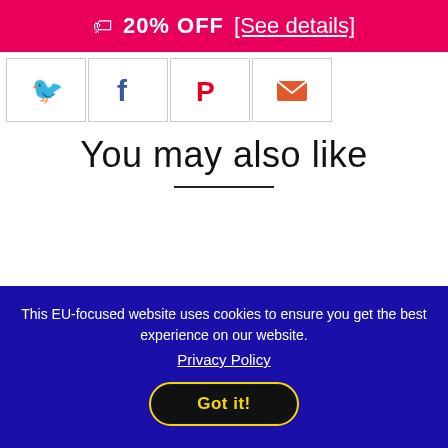🏷 20% OFF [See details]
[Figure (other): Social media share icons: Twitter (blue bird), Facebook (f), Pinterest (P), Email (envelope)]
You may also like
This EU-focused website uses cookies to ensure you get the best experience on our website.
Privacy Policy
Got it!